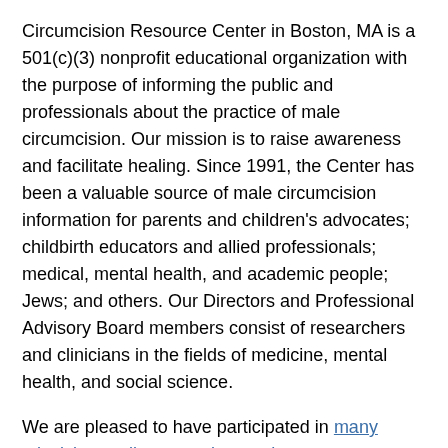Circumcision Resource Center in Boston, MA is a 501(c)(3) nonprofit educational organization with the purpose of informing the public and professionals about the practice of male circumcision. Our mission is to raise awareness and facilitate healing. Since 1991, the Center has been a valuable source of male circumcision information for parents and children's advocates; childbirth educators and allied professionals; medical, mental health, and academic people; Jews; and others. Our Directors and Professional Advisory Board members consist of researchers and clinicians in the fields of medicine, mental health, and social science.
We are pleased to have participated in many television, radio, magazine, and newspaper interviews. In addition, we have contributed to many books, periodicals, and newspapers. We also provide consultation, counseling, and referrals and lectures, seminars, and publications.
Attitudes toward circumcision are changing because of new